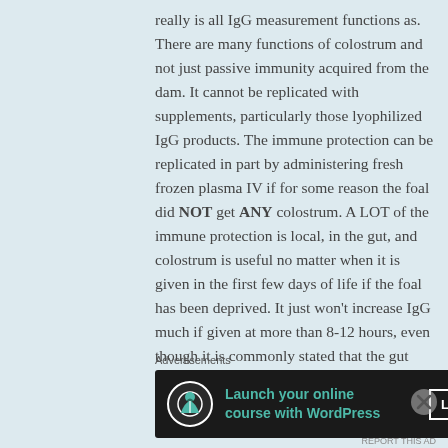really is all IgG measurement functions as. There are many functions of colostrum and not just passive immunity acquired from the dam. It cannot be replicated with supplements, particularly those lyophilized IgG products. The immune protection can be replicated in part by administering fresh frozen plasma IV if for some reason the foal did NOT get ANY colostrum. A LOT of the immune protection is local, in the gut, and colostrum is useful no matter when it is given in the first few days of life if the foal has been deprived. It just won't increase IgG much if given at more than 8-12 hours, even though it is commonly stated that the gut doesn't
Advertisements
[Figure (other): Advertisement banner with dark background: icon of a person under a tree, text 'Launch your online course with WordPress' in teal, and a 'Learn More' button]